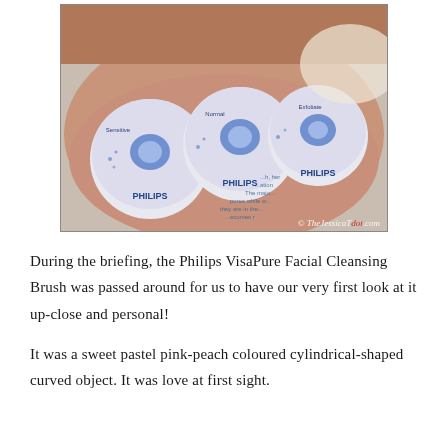[Figure (photo): A hand holding three circular Philips VisaPure brush heads, each labeled 'PHILIPS' and with different tip types (Sensitive, Normal, Exfoliate). Watermark reads '© TheJessicaTdot.com' in the bottom right corner.]
During the briefing, the Philips VisaPure Facial Cleansing Brush was passed around for us to have our very first look at it up-close and personal!
It was a sweet pastel pink-peach coloured cylindrical-shaped curved object. It was love at first sight.